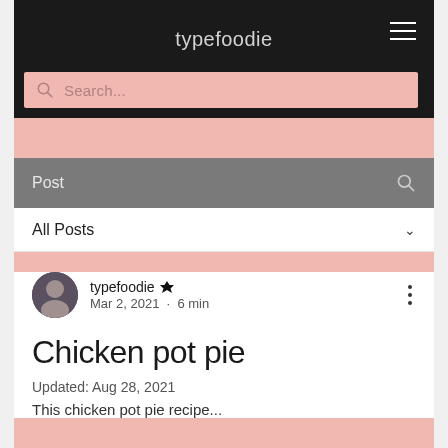typefoodie
Search...
Post
All Posts
typefoodie  Mar 2, 2021 · 6 min
Chicken pot pie
Updated: Aug 28, 2021